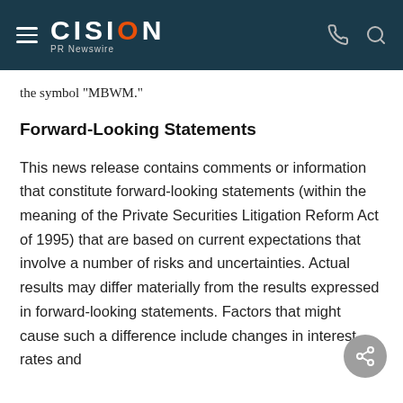CISION PR Newswire
the symbol "MBWM."
Forward-Looking Statements
This news release contains comments or information that constitute forward-looking statements (within the meaning of the Private Securities Litigation Reform Act of 1995) that are based on current expectations that involve a number of risks and uncertainties. Actual results may differ materially from the results expressed in forward-looking statements. Factors that might cause such a difference include changes in interest rates and